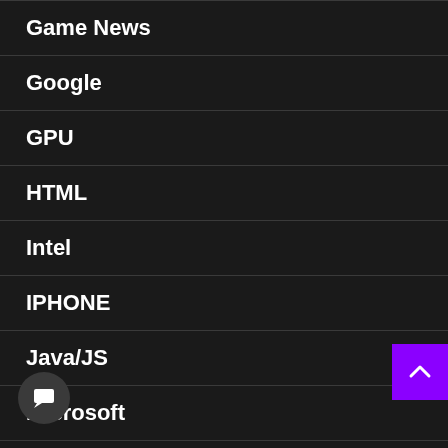Game News
Google
GPU
HTML
Intel
IPHONE
Java/JS
Microsoft
Motherboard
PROCESSOR